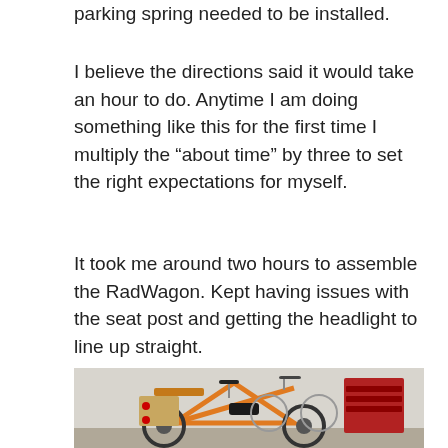parking spring needed to be installed.
I believe the directions said it would take an hour to do. Anytime I am doing something like this for the first time I multiply the “about time” by three to set the right expectations for myself.
It took me around two hours to assemble the RadWagon. Kept having issues with the seat post and getting the headlight to line up straight.
[Figure (photo): An orange RadWagon electric cargo bike assembled in a garage, surrounded by other bikes and a red tool chest in the background.]